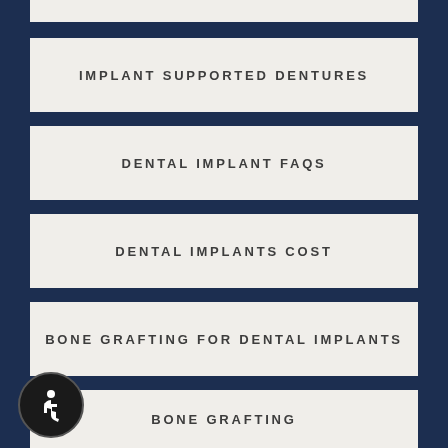IMPLANT SUPPORTED DENTURES
DENTAL IMPLANT FAQS
DENTAL IMPLANTS COST
BONE GRAFTING FOR DENTAL IMPLANTS
BONE GRAFTING
BONE GRAFTING PROCEDURE
JAWBONE LOSS